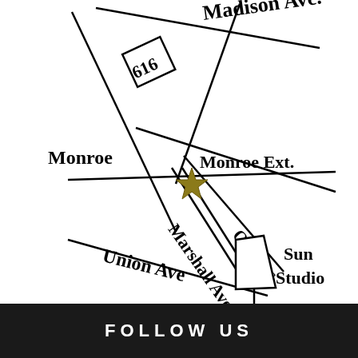[Figure (map): Street map showing intersection near 616 Monroe Ave, Memphis. Streets shown: Madison Ave., Monroe, Monroe Ext., Marshall Ave, Orleans, Union Ave. Sun Studio landmark marked. Gold star marks the location at 616.]
FOLLOW US